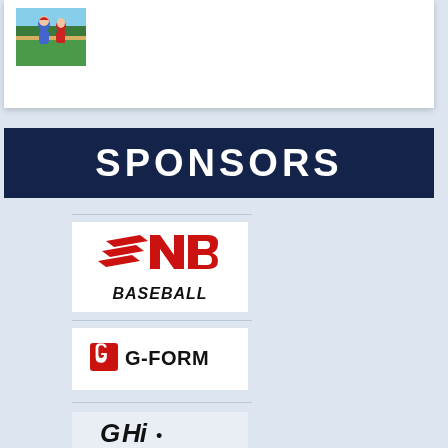[Figure (photo): Baseball player in blue uniform at field, shown in small photo thumbnail in top-left card]
SPONSORS
[Figure (logo): New Balance Baseball logo - red NB swoosh mark with BASEBALL text below in black italic font]
[Figure (logo): G-Form logo - red shield icon with G mark and G-FORM text in black]
[Figure (logo): Partially visible logo at bottom of page]